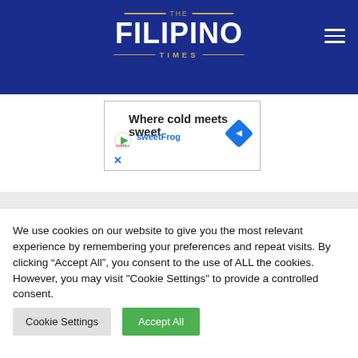THE FILIPINO TIMES
[Figure (screenshot): Advertisement banner for sweetFrog: 'Where cold meets sweet' with sweetFrog logo and arrow button]
We use cookies on our website to give you the most relevant experience by remembering your preferences and repeat visits. By clicking “Accept All”, you consent to the use of ALL the cookies. However, you may visit "Cookie Settings" to provide a controlled consent.
Cookie Settings
Accept All